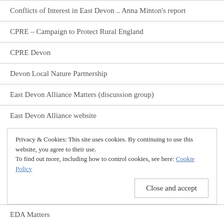Conflicts of Interest in East Devon .. Anna Minton's report
CPRE – Campaign to Protect Rural England
CPRE Devon
Devon Local Nature Partnership
East Devon Alliance Matters (discussion group)
East Devon Alliance website
Privacy & Cookies: This site uses cookies. By continuing to use this website, you agree to their use. To find out more, including how to control cookies, see here: Cookie Policy
EDA Matters